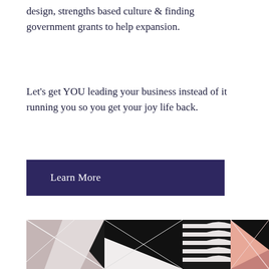design, strengths based culture & finding government grants to help expansion.
Let's get YOU leading your business instead of it running you so you get your joy life back.
Learn More
[Figure (photo): Abstract geometric pattern artwork with triangular shapes in black, white, pink/mauve tones, and wavy stripe patterns in the center-right section.]